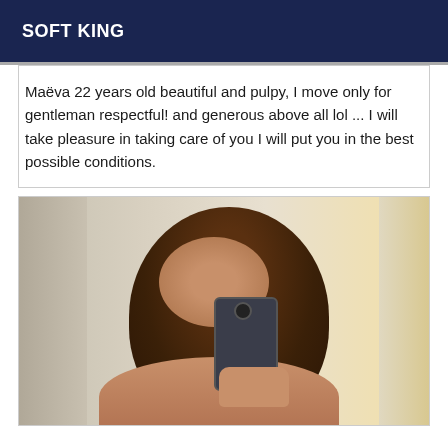SOFT KING
Maëva 22 years old beautiful and pulpy, I move only for gentleman respectful! and generous above all lol ... I will take pleasure in taking care of you I will put you in the best possible conditions.
[Figure (photo): Woman with long dark brown hair taking a mirror selfie with a smartphone, partially covering her face with the phone. Indoor setting with doors visible in background.]